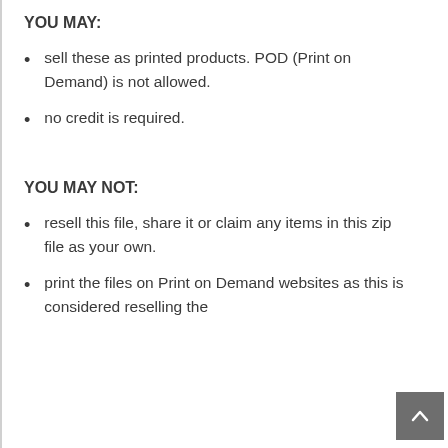YOU MAY:
sell these as printed products. POD (Print on Demand) is not allowed.
no credit is required.
YOU MAY NOT:
resell this file, share it or claim any items in this zip file as your own.
print the files on Print on Demand websites as this is considered reselling the